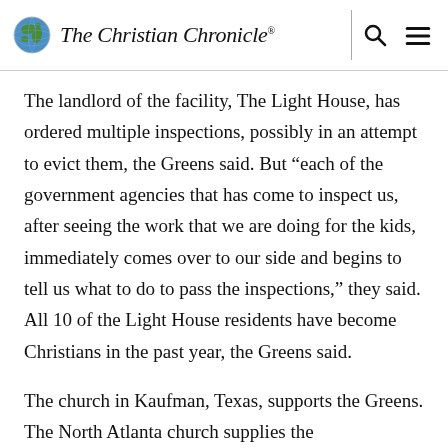The Christian Chronicle
The landlord of the facility, The Light House, has ordered multiple inspections, possibly in an attempt to evict them, the Greens said. But “each of the government agencies that has come to inspect us, after seeing the work that we are doing for the kids, immediately comes over to our side and begins to tell us what to do to pass the inspections,” they said. All 10 of the Light House residents have become Christians in the past year, the Greens said.
The church in Kaufman, Texas, supports the Greens. The North Atlanta church supplies the